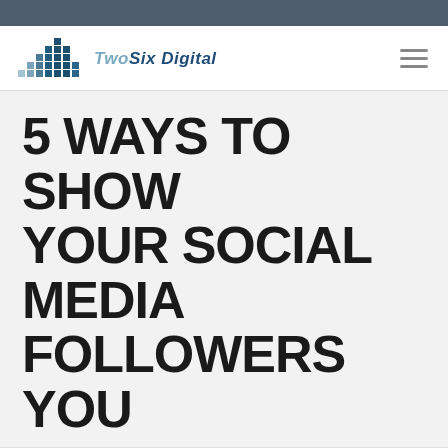[Figure (logo): TwoSix Digital logo with bar chart graphic and stylized text]
5 WAYS TO SHOW YOUR SOCIAL MEDIA FOLLOWERS YOU
We use cookies on our website to give you the most relevant experience by remembering your preferences and repeat visits. By clicking “Accept”, you consent to the use of all the cookies.
Opt out.
Cookie Settings   Accept